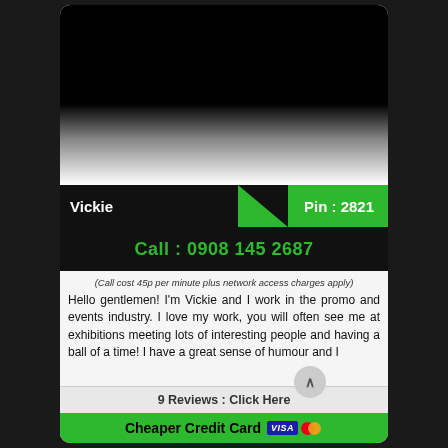[Figure (photo): Photo area showing a person, mostly obscured/dark — top portion of a profile card]
Vickie
Pin : 2821
Call : 0908 145 2687
(Call cost 45p per minute plus network access charges apply)
Hello gentlemen! I'm Vickie and I work in the promo and events industry. I love my work, you will often see me at exhibitions meeting lots of interesting people and having a ball of a time! I have a great sense of humour and I
9 Reviews : Click Here
Cheaper Credit Card